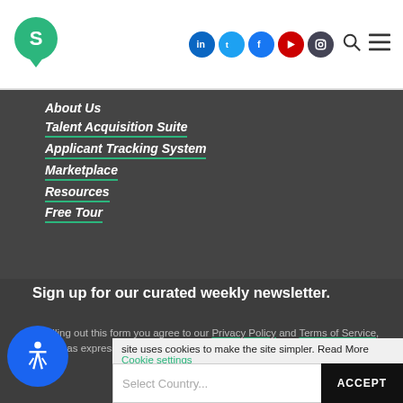[Figure (logo): Green map-pin style logo with letter S inside]
[Figure (infographic): Social media icons row: LinkedIn (blue), Twitter (light blue), Facebook (dark blue), YouTube (red), Instagram (dark grey); followed by search magnifier and hamburger menu icons]
About Us
Talent Acquisition Suite
Applicant Tracking System
Marketplace
Resources
Free Tour
Sign up for our curated weekly newsletter.
By filling out this form you agree to our Privacy Policy and Terms of Service, as well as express your consent to receive communications from us
site uses cookies to make the site simpler. Read More Cookie settings
Select Country...   ACCEPT